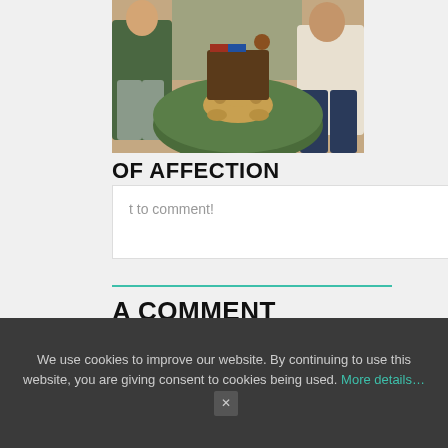[Figure (photo): Two men sitting indoors on chairs with a golden dog lying on a large round dark green ottoman/pouf. Indoor setting with plants and wooden furniture visible in the background.]
OF AFFECTION
t to comment!
A COMMENT
We use cookies to improve our website. By continuing to use this website, you are giving consent to cookies being used. More details… ×